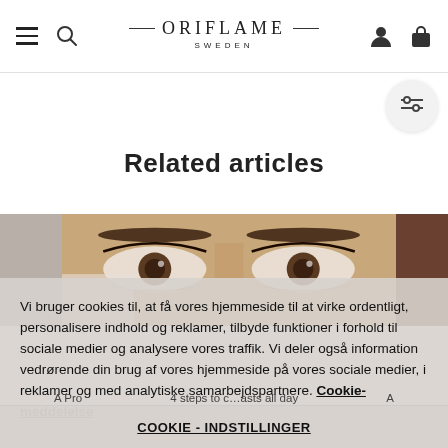Oriflame Sweden
Related articles
[Figure (photo): Three related article thumbnail images showing beauty/makeup topics. Left: gray product image. Center: close-up of woman's eyes with makeup. Right: dark skin-tone product image.]
Vi bruger cookies til, at få vores hjemmeside til at virke ordentligt, personalisere indhold og reklamer, tilbyde funktioner i forhold til sociale medier og analysere vores traffik. Vi deler også information vedrørende din brug af vores hjemmeside på vores sociale medier, i reklamer og med analytiske samarbejdspartnere. Cookie-meddelelse
A Pro   4 steps to c…asts all day   A
COOKIE - INDSTILLINGER